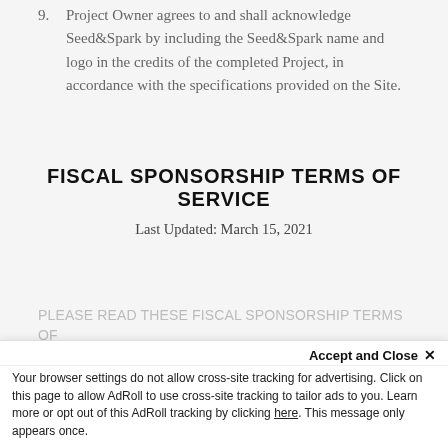9. Project Owner agrees to and shall acknowledge Seed&Spark by including the Seed&Spark name and logo in the credits of the completed Project, in accordance with the specifications provided on the Site.
FISCAL SPONSORSHIP TERMS OF SERVICE
Last Updated: March 15, 2021
PLEASE READ THESE FISCAL SPONSORSHIP TERMS OF SERVICE (THIS "AGREEMENT") OR THESE...
Accept and Close ×
Your browser settings do not allow cross-site tracking for advertising. Click on this page to allow AdRoll to use cross-site tracking to tailor ads to you. Learn more or opt out of this AdRoll tracking by clicking here. This message only appears once.